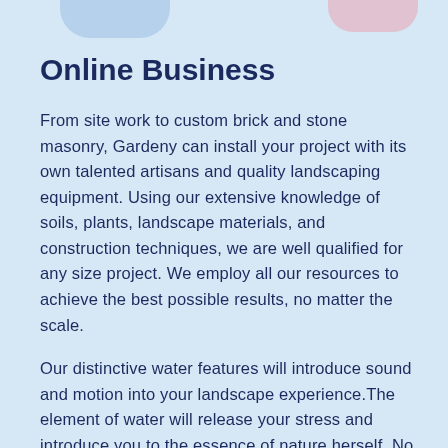Online Business
From site work to custom brick and stone masonry, Gardeny can install your project with its own talented artisans and quality landscaping equipment. Using our extensive knowledge of soils, plants, landscape materials, and construction techniques, we are well qualified for any size project. We employ all our resources to achieve the best possible results, no matter the scale.
Our distinctive water features will introduce sound and motion into your landscape experience.The element of water will release your stress and introduce you to the essence of nature herself. No two water gardens are alike, yet most are similar. Constructed of quality components and natural materials, our water